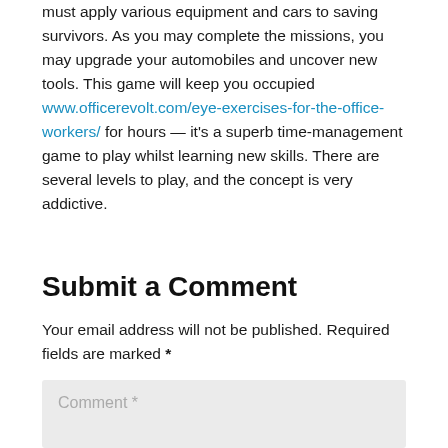must apply various equipment and cars to saving survivors. As you may complete the missions, you may upgrade your automobiles and uncover new tools. This game will keep you occupied www.officerevolt.com/eye-exercises-for-the-office-workers/ for hours — it's a superb time-management game to play whilst learning new skills. There are several levels to play, and the concept is very addictive.
Submit a Comment
Your email address will not be published. Required fields are marked *